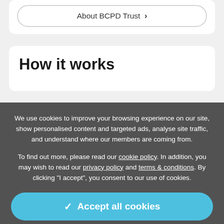About BCPD Trust >
How it works
We use cookies to improve your browsing experience on our site, show personalised content and targeted ads, analyse site traffic, and understand where our members are coming from.
To find out more, please read our cookie policy. In addition, you may wish to read our privacy policy and terms & conditions. By clicking "I accept", you consent to our use of cookies.
✓ Accept all cookies
⚙ Manage settings